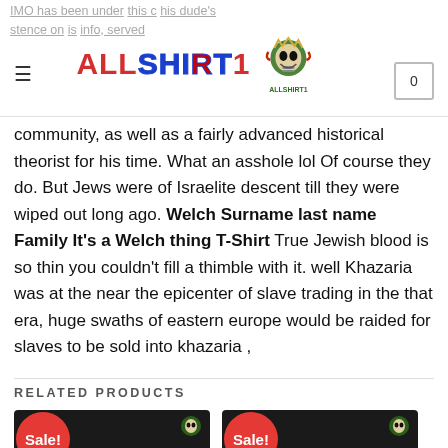AllShirt1 website header with logo and navigation
IMO has been under... this dude's stence on... info, served both as a whistleblower (knowing or unknowing) on his own community, as well as a fairly advanced historical theorist for his time. What an asshole lol Of course they do. But Jews were of Israelite descent till they were wiped out long ago. Welch Surname last name Family It's a Welch thing T-Shirt True Jewish blood is so thin you couldn't fill a thimble with it. well Khazaria was at the near the epicenter of slave trading in the that era, huge swaths of eastern europe would be raided for slaves to be sold into khazaria ,
RELATED PRODUCTS
[Figure (photo): Two product t-shirt cards with Sale! badges on red circles, black shirts on green background]
[Figure (photo): Second t-shirt product card with Sale! badge]